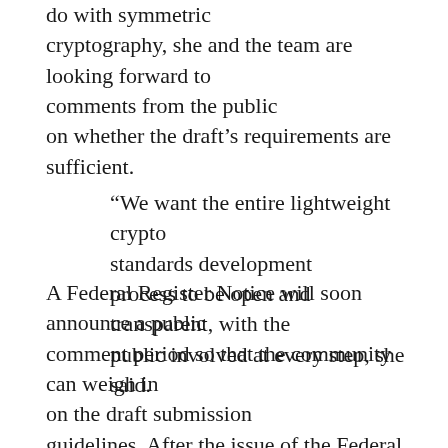do with symmetric cryptography, she and the team are looking forward to comments from the public on whether the draft's requirements are sufficient.
“We want the entire lightweight crypto standards development process to be open and transparent, with the public involved at every step, she said.
A Federal Register Notice will soon announce a public comment period so that the community can weigh in on the draft submission guidelines. After the issue of the Federal Register notice, NIST will be accepting comments on the draft for 45 days, and will